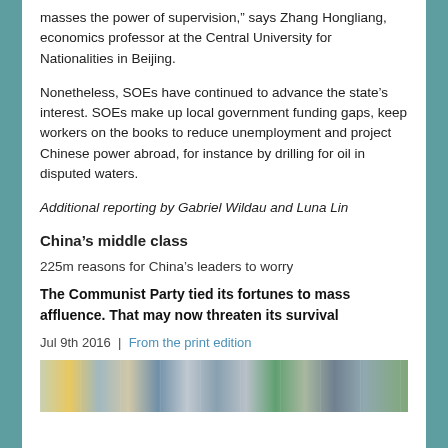masses the power of supervision,” says Zhang Hongliang, economics professor at the Central University for Nationalities in Beijing.
Nonetheless, SOEs have continued to advance the state’s interest. SOEs make up local government funding gaps, keep workers on the books to reduce unemployment and project Chinese power abroad, for instance by drilling for oil in disputed waters.
Additional reporting by Gabriel Wildau and Luna Lin
China’s middle class
225m reasons for China’s leaders to worry
The Communist Party tied its fortunes to mass affluence. That may now threaten its survival
Jul 9th 2016 | From the print edition
[Figure (photo): A horizontal photo strip showing a collage of urban scenes in China, including city streets, buildings, and greenery.]